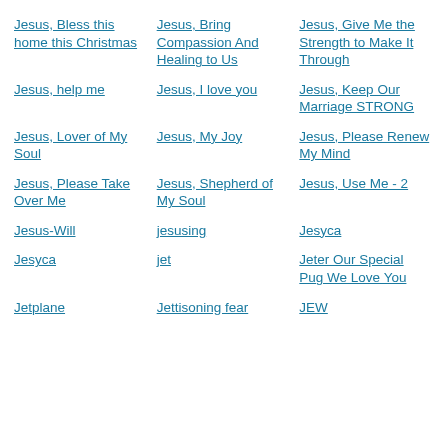Jesus, Bless this home this Christmas
Jesus, Bring Compassion And Healing to Us
Jesus, Give Me the Strength to Make It Through
Jesus, help me
Jesus, I love you
Jesus, Keep Our Marriage STRONG
Jesus, Lover of My Soul
Jesus, My Joy
Jesus, Please Renew My Mind
Jesus, Please Take Over Me
Jesus, Shepherd of My Soul
Jesus, Use Me - 2
Jesus-Will
jesusing
Jesyca
Jesyca
jet
Jeter Our Special Pug We Love You
Jetplane
Jettisoning fear
JEW